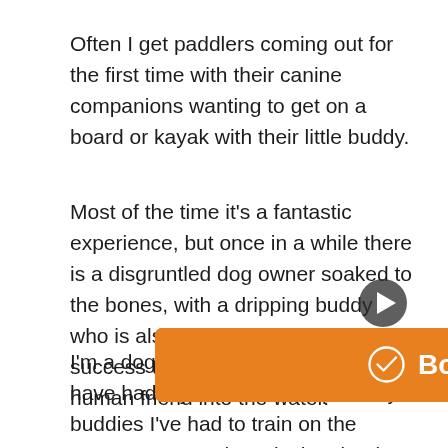Often I get paddlers coming out for the first time with their canine companions wanting to get on a board or kayak with their little buddy.
Most of the time it's a fantastic experience, but once in a while there is a disgruntled dog owner soaked to the bones, with a dripping buddy who is also pleased as punch at the success they had dumping their human friend into the water.
I'm a dog owner of many years and have had my share of multiple furry buddies I've had to train on the water. A "water shy" Black Lab mix: Toddy, a cute little Chihuahua that felt he ruled the lake: El Gato, and now the electrified Dingo, my Red Heeler mix that never tires of swimming for hours on end, as long something to fetch is out there.
Each [text obscured] e and type of training they needed. Because as we dog
[Figure (other): Orange 'Book Now' button with white checkmark circle icon and white bold text]